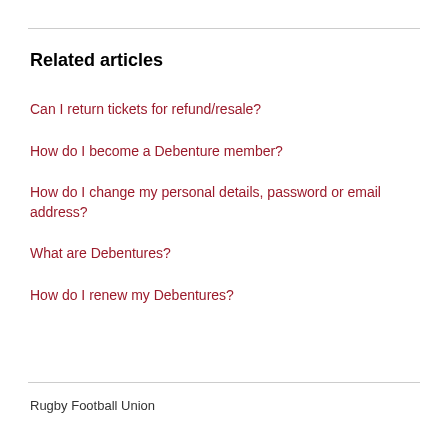Related articles
Can I return tickets for refund/resale?
How do I become a Debenture member?
How do I change my personal details, password or email address?
What are Debentures?
How do I renew my Debentures?
Rugby Football Union